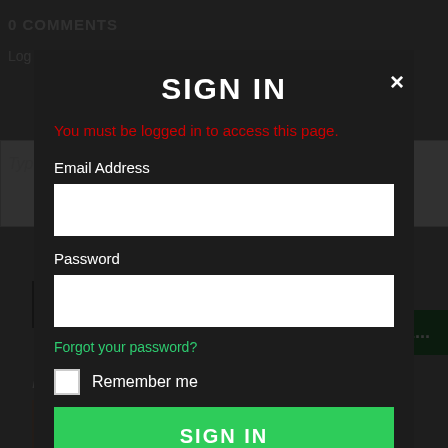[Figure (screenshot): Background webpage showing '0 COMMENTS' heading and 'Log In' text, with dimmed editorial content including 'INJURED AT WORK?' and 'DISABLED?' headlines]
SIGN IN
You must be logged in to access this page.
Email Address
Password
Forgot your password?
Remember me
SIGN IN
Don't have an account?